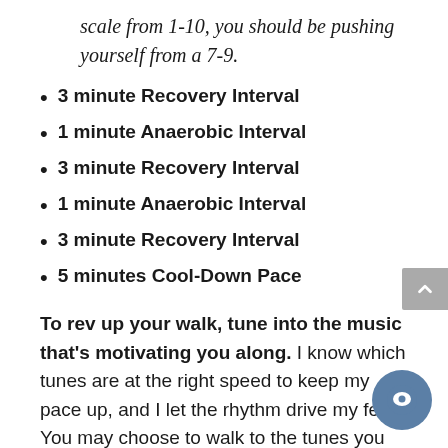scale from 1-10, you should be pushing yourself from a 7-9.
3 minute Recovery Interval
1 minute Anaerobic Interval
3 minute Recovery Interval
1 minute Anaerobic Interval
3 minute Recovery Interval
5 minutes Cool-Down Pace
To rev up your walk, tune into the music that's motivating you along. I know which tunes are at the right speed to keep my pace up, and I let the rhythm drive my feet. You may choose to walk to the tunes you like best, but why not put music to work for you by selecting songs w rhythm — in beats per minute — that corresponds to your footfalls? That way, you